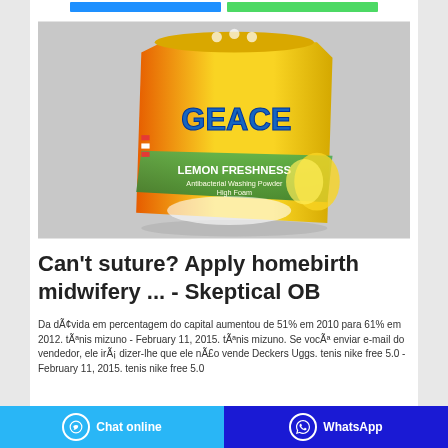[Figure (photo): Yellow and green bag of GEACE Lemon Freshness laundry detergent powder on a grey background]
Can’t suture? Apply homebirth midwifery ... - Skeptical OB
Da dÃ¢vida em percentagem do capital aumentou de 51% em 2010 para 61% em 2012. tênis mizuno - February 11, 2015. tênis mizuno. Se vocÃª enviar e-mail do vendedor, ele irÃ¡ dizer-lhe que ele nÃ£o vende Deckers Uggs. tenis nike free 5.0 - February 11, 2015. tenis nike free 5.0
Chat online | WhatsApp